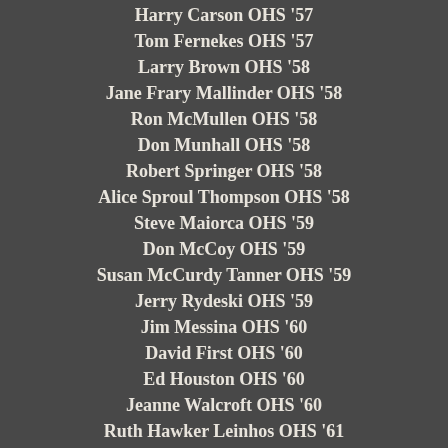Harry Carson OHS '57
Tom Fernekes OHS '57
Larry Brown OHS '58
Jane Frary Mallinder OHS '58
Ron McMullen OHS '58
Don Munhall OHS '58
Robert Springer OHS '58
Alice Sproul Thompson OHS '58
Steve Maiorca OHS '59
Don McCoy OHS '59
Susan McCurdy Tanner OHS '59
Jerry Rydeski OHS '59
Jim Messina OHS '60
David First OHS '60
Ed Houston OHS '60
Jeanne Walcroft OHS '60
Ruth Hawker Leinhos OHS '61
John Tolbert OHS '61